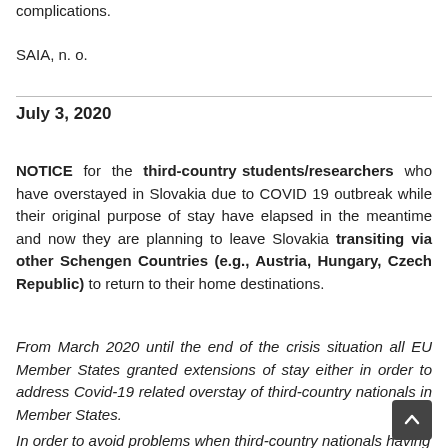complications.
SAIA, n. o.
July 3, 2020
NOTICE for the third-country students/researchers who have overstayed in Slovakia due to COVID 19 outbreak while their original purpose of stay have elapsed in the meantime and now they are planning to leave Slovakia transiting via other Schengen Countries (e.g., Austria, Hungary, Czech Republic) to return to their home destinations.
From March 2020 until the end of the crisis situation all EU Member States granted extensions of stay either in order to address Covid-19 related overstay of third-country nationals in Member States.
In order to avoid problems when third-country nationals having